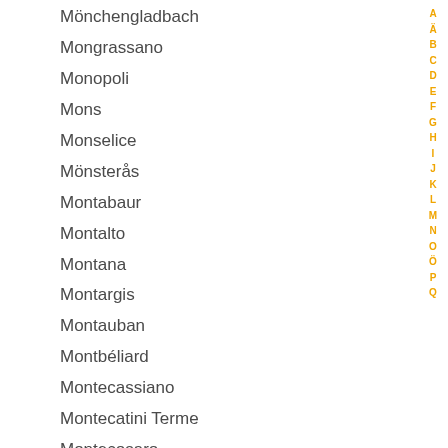Mönchengladbach
Mongrassano
Monopoli
Mons
Monselice
Mönsterås
Montabaur
Montalto
Montana
Montargis
Montauban
Montbéliard
Montecassiano
Montecatini Terme
Montecosaro